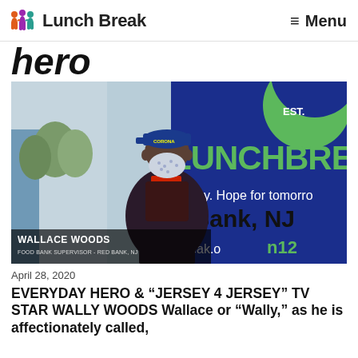Lunch Break   Menu
hero
[Figure (photo): Man wearing a mask and blue cap standing in front of a Lunch Break sign in Red Bank, NJ. News chyron reads WALLACE WOODS, FOOD BANK SUPERVISOR - RED BANK, NJ. Channel 12 logo visible.]
April 28, 2020
EVERYDAY HERO & "JERSEY 4 JERSEY" TV STAR WALLY WOODS Wallace or "Wally," as he is affectionately called, uses "hero" to...